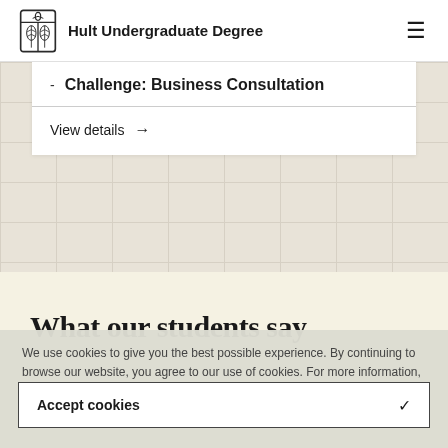Hult Undergraduate Degree
Challenge: Business Consultation
View details →
What our students say
We use cookies to give you the best possible experience. By continuing to browse our website, you agree to our use of cookies. For more information, please read our cookie policy.
Accept cookies ✓